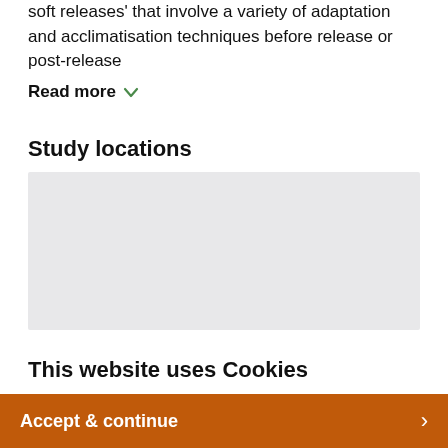soft releases' that involve a variety of adaptation and acclimatisation techniques before release or post-release
Read more
Study locations
[Figure (map): Map placeholder showing study locations]
This website uses Cookies
We use Cookies to personalise content and ads, provide social media features and to analyse our traffic. By using this site, you will be providing your consent to our use of Cookies.
Accept & continue